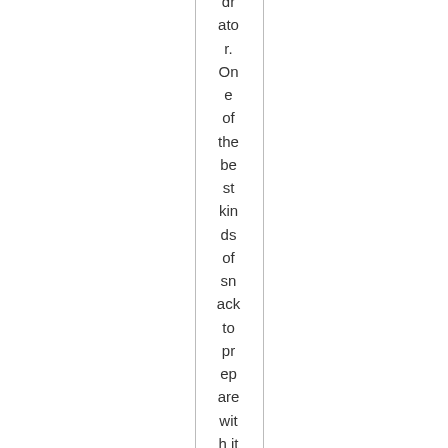dr ator. One of the best kinds of snack to prepare wit h it